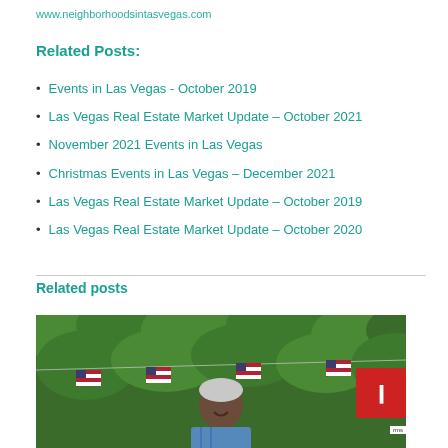www.neighborhoodsintasvegas.com
Related Posts:
Events in Las Vegas - October 2019
Las Vegas Real Estate Market Update – October 2021
November 2021 Events in Las Vegas
Christmas Events in Las Vegas – December 2021
Las Vegas Real Estate Market Update – October 2019
Las Vegas Real Estate Market Update – October 2020
Related posts
[Figure (photo): Outdoor scene with American flag bunting and an elderly person smiling, green foliage background]